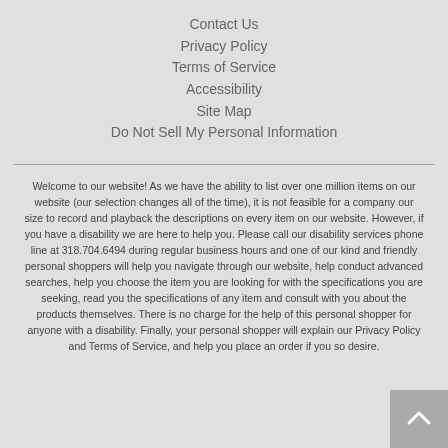Contact Us
Privacy Policy
Terms of Service
Accessibility
Site Map
Do Not Sell My Personal Information
Welcome to our website! As we have the ability to list over one million items on our website (our selection changes all of the time), it is not feasible for a company our size to record and playback the descriptions on every item on our website. However, if you have a disability we are here to help you. Please call our disability services phone line at 318.704.6494 during regular business hours and one of our kind and friendly personal shoppers will help you navigate through our website, help conduct advanced searches, help you choose the item you are looking for with the specifications you are seeking, read you the specifications of any item and consult with you about the products themselves. There is no charge for the help of this personal shopper for anyone with a disability. Finally, your personal shopper will explain our Privacy Policy and Terms of Service, and help you place an order if you so desire.